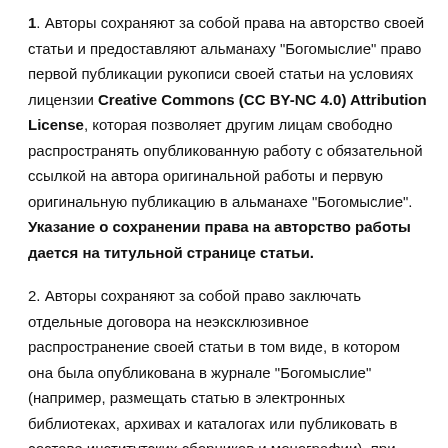1. Авторы сохраняют за собой права на авторство своей статьи и предоставляют альманаху "Богомыслие" право первой публикации рукописи своей статьи на условиях лицензии Creative Commons (CC BY-NC 4.0) Attribution License, которая позволяет другим лицам свободно распространять опубликованную работу с обязательной ссылкой на автора оригинальной работы и первую оригинальную публикацию в альманахе "Богомыслие". Указание о сохранении права на авторство работы дается на титульной странице статьи.
2. Авторы сохраняют за собой право заключать отдельные договора на неэксклюзивное распространение своей статьи в том виде, в котором она была опубликована в журнале "Богомыслие" (например, размещать статью в электронных библиотеках, архивах и каталогах или публиковать в составе институтских сборников и монографии), при обязательном условии указания полной ссылки на первую оригинальную